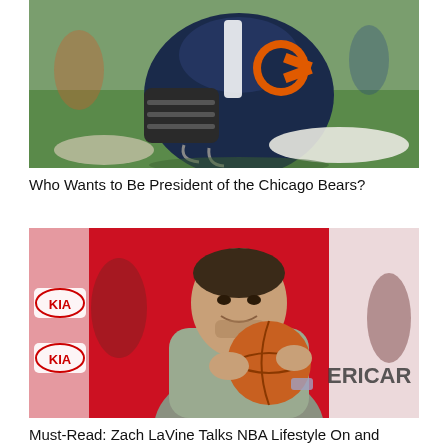[Figure (photo): A Chicago Bears football helmet resting on green grass at what appears to be a training camp or practice field. The navy helmet with orange C logo is prominently featured.]
Who Wants to Be President of the Chicago Bears?
[Figure (photo): NBA player Zach LaVine in a gray Bulls t-shirt holding a basketball at what appears to be a practice or promotional event. KIA sponsor logos are visible on the red backdrop behind him.]
Must-Read: Zach LaVine Talks NBA Lifestyle On and Off the Court